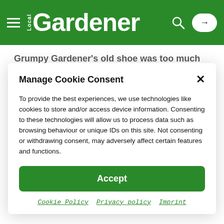Local Gardener
Grumpy Gardener's old shoe was too much for the robin!
In the garden
TAKE FIVE: OREGON® PRODUCTS SHARES TOP FALL
Manage Cookie Consent
To provide the best experiences, we use technologies like cookies to store and/or access device information. Consenting to these technologies will allow us to process data such as browsing behaviour or unique IDs on this site. Not consenting or withdrawing consent, may adversely affect certain features and functions.
Accept
Cookie Policy  Privacy policy  Imprint